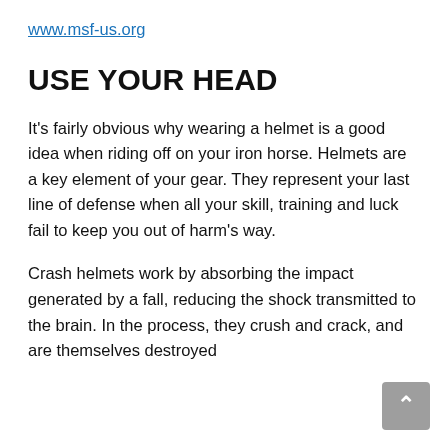www.msf-us.org
USE YOUR HEAD
It's fairly obvious why wearing a helmet is a good idea when riding off on your iron horse. Helmets are a key element of your gear. They represent your last line of defense when all your skill, training and luck fail to keep you out of harm's way.
Crash helmets work by absorbing the impact generated by a fall, reducing the shock transmitted to the brain. In the process, they crush and crack, and are themselves destroyed in order to protect you in an emergency. A good